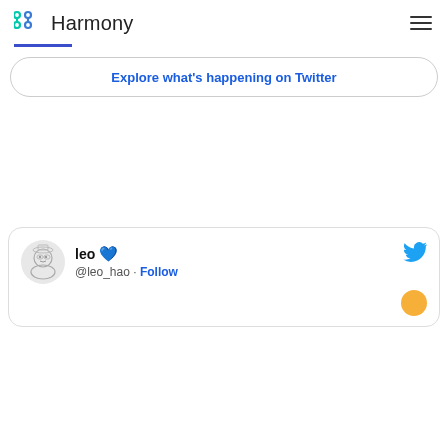Harmony
Explore what's happening on Twitter
leo @leo_hao · Follow